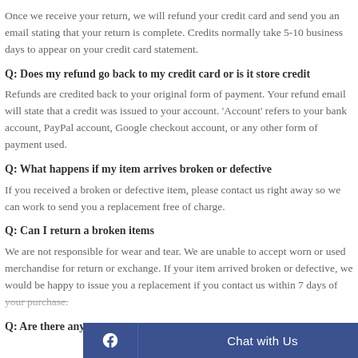Once we receive your return, we will refund your credit card and send you an email stating that your return is complete. Credits normally take 5-10 business days to appear on your credit card statement.
Q: Does my refund go back to my credit card or is it store credit
Refunds are credited back to your original form of payment. Your refund email will state that a credit was issued to your account. 'Account' refers to your bank account, PayPal account, Google checkout account, or any other form of payment used.
Q: What happens if my item arrives broken or defective
If you received a broken or defective item, please contact us right away so we can work to send you a replacement free of charge.
Q: Can I return a broken items
We are not responsible for wear and tear. We are unable to accept worn or used merchandise for return or exchange. If your item arrived broken or defective, we would be happy to issue you a replacement if you contact us within 7 days of your purchase.
Q: Are there any r
[Figure (other): Chat with Us button bar with Facebook icon on a dark blue background]